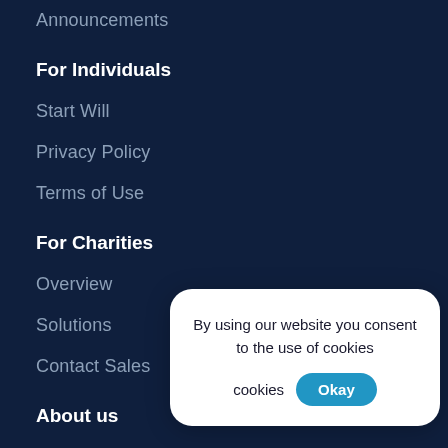Announcements
For Individuals
Start Will
Privacy Policy
Terms of Use
For Charities
Overview
Solutions
Contact Sales
About us
Our Purpose
Careers
By using our website you consent to the use of cookies  Okay